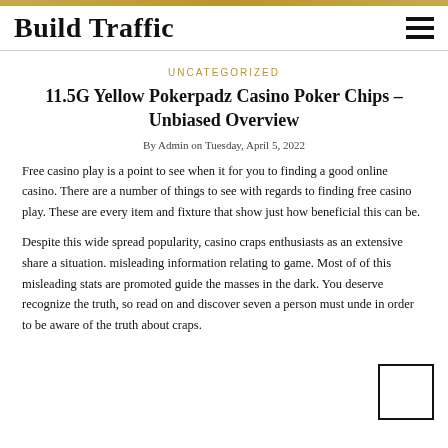Build Traffic
UNCATEGORIZED
11.5G Yellow Pokerpadz Casino Poker Chips – Unbiased Overview
By Admin on Tuesday, April 5, 2022
Free casino play is a point to see when it for you to finding a good online casino. There are a number of things to see with regards to finding free casino play. These are every item and fixture that show just how beneficial this can be.
Despite this wide spread popularity, casino craps enthusiasts as an extensive share a situation. misleading information relating to game. Most of of this misleading stats are promoted guide the masses in the dark. You deserve recognize the truth, so read on and discover seven a person must unde in order to be aware of the truth about craps.